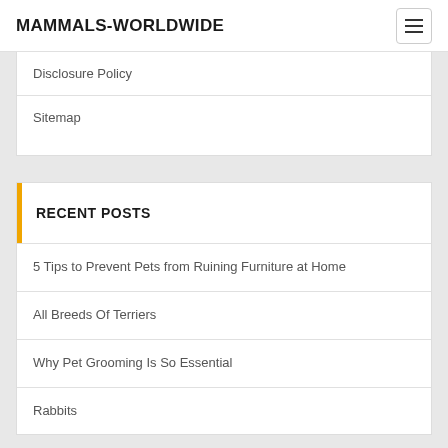MAMMALS-WORLDWIDE
Disclosure Policy
Sitemap
RECENT POSTS
5 Tips to Prevent Pets from Ruining Furniture at Home
All Breeds Of Terriers
Why Pet Grooming Is So Essential
Rabbits